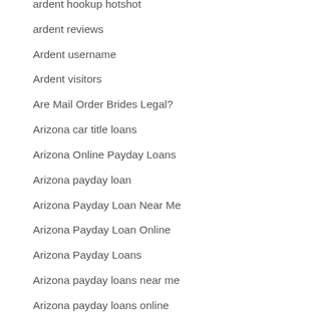ardent hookup hotshot
ardent reviews
Ardent username
Ardent visitors
Are Mail Order Brides Legal?
Arizona car title loans
Arizona Online Payday Loans
Arizona payday loan
Arizona Payday Loan Near Me
Arizona Payday Loan Online
Arizona Payday Loans
Arizona payday loans near me
Arizona payday loans online
arizona-phoenix-lesbian-dating review
Arkansas payday loan